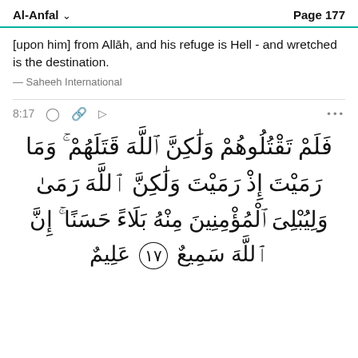Al-Anfal   Page 177
[upon him] from Allāh, and his refuge is Hell - and wretched is the destination.
— Saheeh International
8:17
[Figure (other): Arabic Quranic verse text from Surah Al-Anfal 8:17: فَلَمْ تَقْتُلُوهُمْ وَلَٰكِنَّ اللَّهَ قَتَلَهُمْ ۚ وَمَا رَمَيْتَ إِذْ رَمَيْتَ وَلَٰكِنَّ اللَّهَ رَمَىٰ ۚ وَلِيُبْلِيَ الْمُؤْمِنِينَ مِنْهُ بَلَاءً حَسَنًا ۚ إِنَّ اللَّهَ سَمِيعٌ عَلِيمٌ with verse number 17]